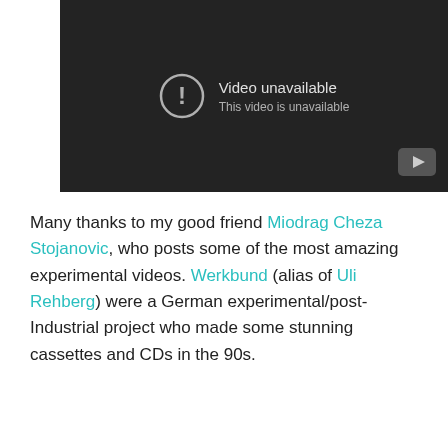[Figure (screenshot): YouTube video player showing 'Video unavailable' error. Dark background with exclamation mark icon and text 'Video unavailable / This video is unavailable'. YouTube logo button in bottom-right corner.]
Many thanks to my good friend Miodrag Cheza Stojanovic, who posts some of the most amazing experimental videos. Werkbund (alias of Uli Rehberg) were a German experimental/post-Industrial project who made some stunning cassettes and CDs in the 90s.